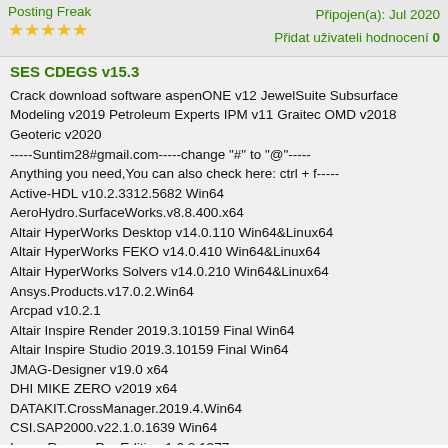Posting Freak | Připojen(a): Jul 2020 | Přidat uživateli hodnocení 0
SES CDEGS v15.3
Crack download software aspenONE v12 JewelSuite Subsurface Modeling v2019 Petroleum Experts IPM v11 Graitec OMD v2018 Geoteric v2020
-----Suntim28#gmail.com-----change "#" to "@"-----
Anything you need,You can also check here: ctrl + f-----
Active-HDL v10.2.3312.5682 Win64
AeroHydro.SurfaceWorks.v8.8.400.x64
Altair HyperWorks Desktop v14.0.110 Win64&Linux64
Altair HyperWorks FEKO v14.0.410 Win64&Linux64
Altair HyperWorks Solvers v14.0.210 Win64&Linux64
Ansys.Products.v17.0.2.Win64
Arcpad v10.2.1
Altair Inspire Render 2019.3.10159 Final Win64
Altair Inspire Studio 2019.3.10159 Final Win64
JMAG-Designer v19.0 x64
DHI MIKE ZERO v2019 x64
DATAKIT.CrossManager.2019.4.Win64
CSI.SAP2000.v22.1.0.1639 Win64
ImageRanger Pro Edition 1.6.2.1377
Cadence SPB OrCAD (Allegro SPB) v17.20.000
CAMWorks 2016 SP2 for SolidEdge Win64